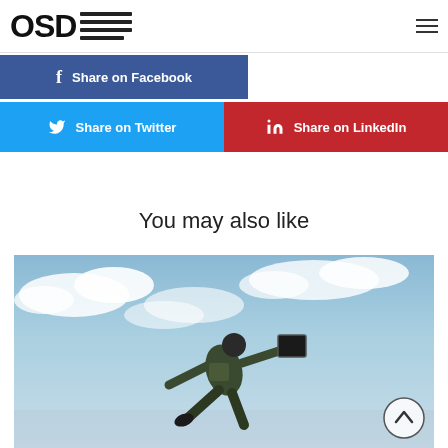[Figure (logo): OSD logo with horizontal lines]
[Figure (infographic): Share on Facebook button (blue)]
[Figure (infographic): Share on Twitter (cyan) and Share on LinkedIn (red) buttons]
You may also like
[Figure (photo): Military skydiver in full gear holding equipment, jumping with sky background]